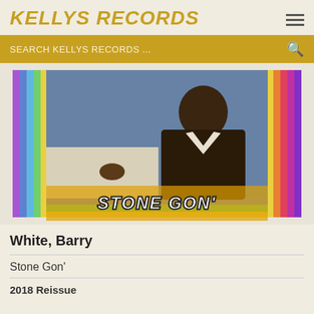KELLYS RECORDS
SEARCH KELLYS RECORDS ...
[Figure (photo): Album cover for 'Stone Gon'' by Barry White. Shows a man in a dark velvet suit reclining, with a rainbow-bordered frame and the title 'STONE GON'' displayed at the bottom in bold striped lettering.]
White, Barry
Stone Gon'
2018 Reissue